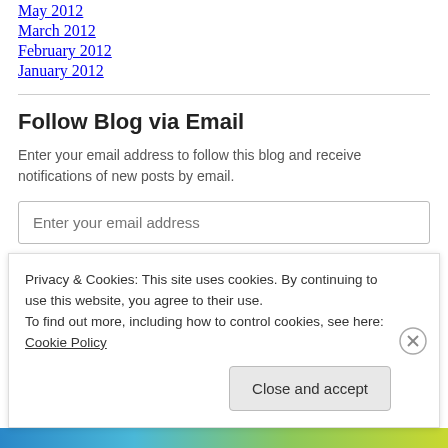May 2012
March 2012
February 2012
January 2012
Follow Blog via Email
Enter your email address to follow this blog and receive notifications of new posts by email.
Enter your email address
Follow
Privacy & Cookies: This site uses cookies. By continuing to use this website, you agree to their use.
To find out more, including how to control cookies, see here: Cookie Policy
Close and accept